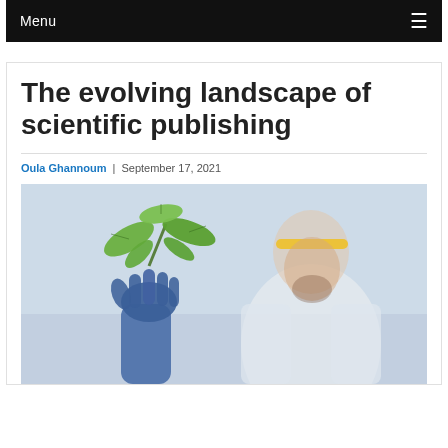Menu
The evolving landscape of scientific publishing
Oula Ghannoum | September 17, 2021
[Figure (photo): A scientist wearing blue lab gloves and yellow safety goggles holds up a small green plant cutting for examination. The background shows a blurred laboratory environment.]